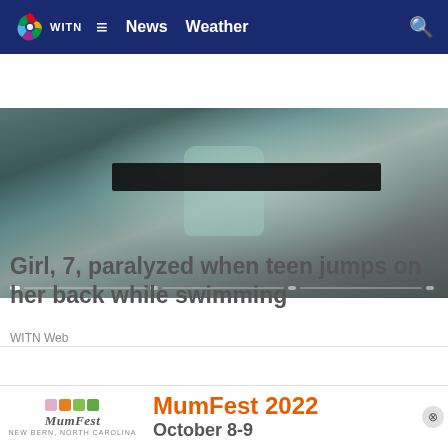WITN | News | Weather
[Figure (photo): News article header image showing a person in a swimming harness with a black strap across torso, with slider navigation dots at bottom]
Girl, 7, paralyzed when teen jumps on her back while swimming
WITN Web
[Figure (photo): Photo of a blue corrugated hose/tube arching over a gutter filled with plants and debris, against a stone wall background]
[Figure (other): MumFest 2022 advertisement banner with colorful squares logo, MumFest wordmark, and text: MumFest 2022 October 8-9, New Bern North Carolina]